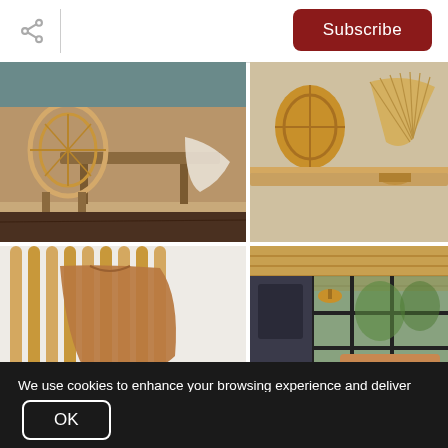Share | Subscribe
[Figure (photo): Four interior design photos arranged in a 2x2 grid: top-left shows rattan/wicker chairs around a wooden dining table; top-right shows a wooden shelf with a woven fan decoration and basket; bottom-left shows a rattan headboard with a brown leather jacket draped over it, a camera and notebook on a white surface below; bottom-right shows a modern living room with floor-to-ceiling windows, wooden ceiling, leather sofa, wooden coffee table and wicker ottoman]
We use cookies to enhance your browsing experience and deliver our services. By continuing to visit this site, you agree to our use of cookies. More info
OK